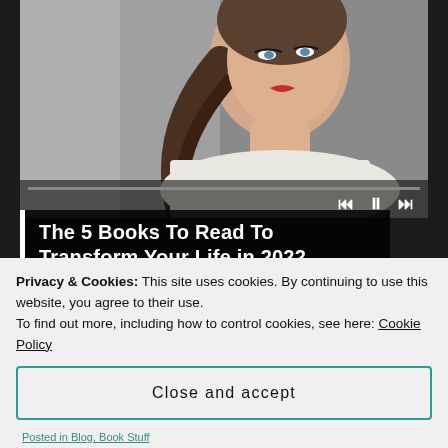[Figure (screenshot): A video player showing a portrait of a young woman with dark braided hair and red lipstick, looking to the left, against a grey background. Playback controls are visible at the bottom of the player.]
The 5 Books To Read To Transform Your Life in 2022
[Figure (photo): Small thumbnail image partially visible, showing top of a person's head.]
Privacy & Cookies: This site uses cookies. By continuing to use this website, you agree to their use.
To find out more, including how to control cookies, see here: Cookie Policy
Close and accept
Posted in Blog, Book Stuff